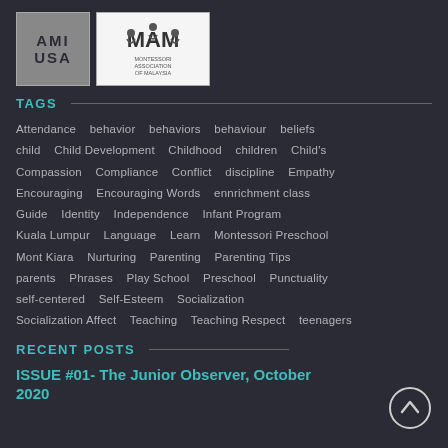[Figure (logo): AMI USA logo (gray square with AMI USA text) and Montessori Association of Malaysia (MAM) logo side by side]
TAGS
Attendance  behavior  behaviors  behaviour  beliefs  child  Child Development  Childhood  children  Child's  Compassion  Compliance  Conflict  discipline  Empathy  Encouraging  Encouraging Words  ennrichment class  Guide  Identity  Independence  Infant Program  Kuala Lumpur  Language  Learn  Montessori Preschool  Mont Kiara  Nurturing  Parenting  Parenting Tips  parents  Phrases  Play School  Preschool  Punctuality  self-centered  Self-Esteem  Socialization  Socialization Affect  Teaching  Teaching Respect  teenagers
RECENT POSTS
ISSUE #01- The Junior Observer, October 2020